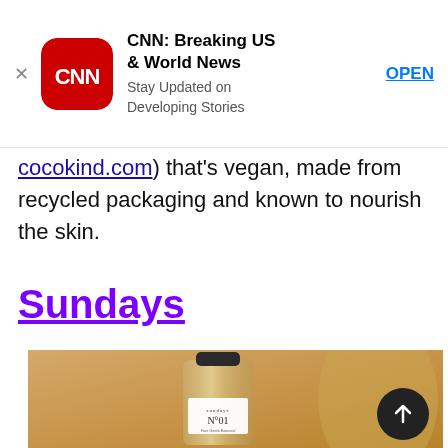[Figure (screenshot): CNN Breaking News app advertisement banner with CNN logo icon, title 'CNN: Breaking US & World News', subtitle 'Stay Updated on Developing Stories', and OPEN button. Has X close button on left.]
cocokind.com) that's vegan, made from recycled packaging and known to nourish the skin.
Sundays
[Figure (photo): Product photo of a clear glass bottle labeled 'sundays No. 01' containing a golden-colored oil, set against a warm beige/gold blurred background with golden cylindrical shapes.]